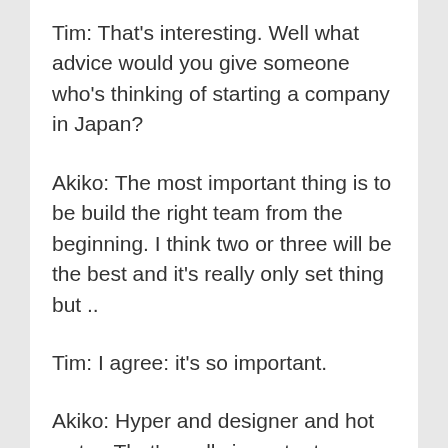Tim: That's interesting. Well what advice would you give someone who's thinking of starting a company in Japan?
Akiko: The most important thing is to be build the right team from the beginning. I think two or three will be the best and it's really only set thing but ..
Tim: I agree: it's so important.
Akiko: Hyper and designer and hot water. That's really important because I started only by myself in the beginning so I was